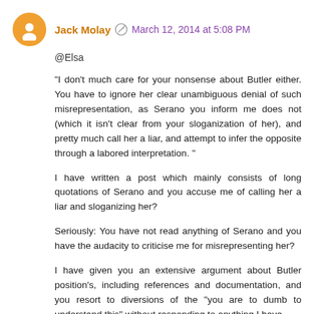Jack Molay  March 12, 2014 at 5:08 PM
@Elsa
"I don't much care for your nonsense about Butler either. You have to ignore her clear unambiguous denial of such misrepresentation, as Serano you inform me does not (which it isn't clear from your sloganization of her), and pretty much call her a liar, and attempt to infer the opposite through a labored interpretation. "
I have written a post which mainly consists of long quotations of Serano and you accuse me of calling her a liar and sloganizing her?
Seriously: You have not read anything of Serano and you have the audacity to criticise me for misrepresenting her?
I have given you an extensive argument about Butler position's, including references and documentation, and you resort to diversions of the "you are to dumb to understand this" without responding to anything I have